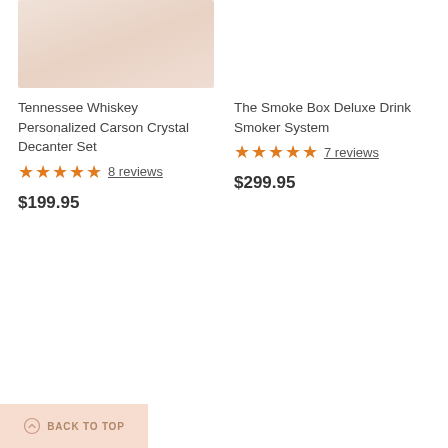[Figure (photo): Product image for Tennessee Whiskey Personalized Carson Crystal Decanter Set - light beige/cream background with faint product silhouette]
Tennessee Whiskey Personalized Carson Crystal Decanter Set
★★★★★ 8 reviews
$199.95
[Figure (photo): Product image area for The Smoke Box Deluxe Drink Smoker System - white/empty area]
The Smoke Box Deluxe Drink Smoker System
★★★★★ 7 reviews
$299.95
BACK TO TOP